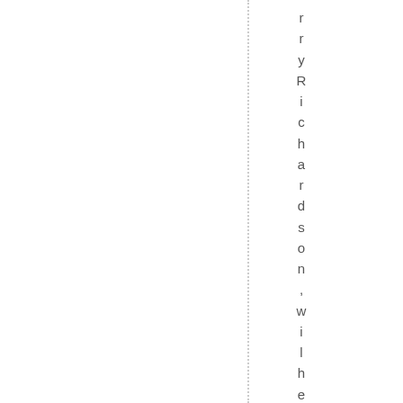r r y R i c h a r d s o n , w i l h e l m i n a l